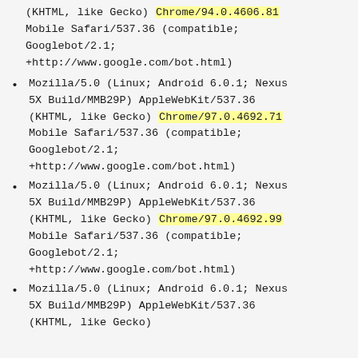(KHTML, like Gecko) Chrome/94.0.4606.81 Mobile Safari/537.36 (compatible; Googlebot/2.1; +http://www.google.com/bot.html)
Mozilla/5.0 (Linux; Android 6.0.1; Nexus 5X Build/MMB29P) AppleWebKit/537.36 (KHTML, like Gecko) Chrome/97.0.4692.71 Mobile Safari/537.36 (compatible; Googlebot/2.1; +http://www.google.com/bot.html)
Mozilla/5.0 (Linux; Android 6.0.1; Nexus 5X Build/MMB29P) AppleWebKit/537.36 (KHTML, like Gecko) Chrome/97.0.4692.99 Mobile Safari/537.36 (compatible; Googlebot/2.1; +http://www.google.com/bot.html)
Mozilla/5.0 (Linux; Android 6.0.1; Nexus 5X Build/MMB29P) AppleWebKit/537.36 (KHTML, like Gecko)